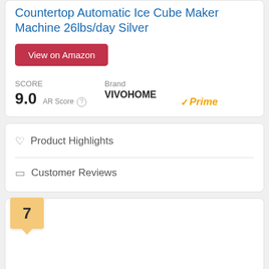Countertop Automatic Ice Cube Maker Machine 26lbs/day Silver
View on Amazon
SCORE 9.0 AR Score  Brand VIVOHOME  Prime
Product Highlights
Customer Reviews
7